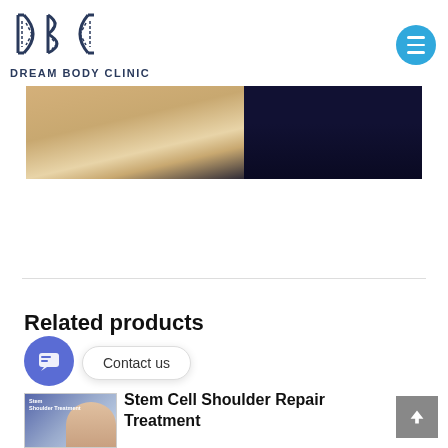[Figure (logo): Dream Body Clinic logo — stylized DBC letters with DNA helix motifs, dark navy blue]
[Figure (photo): Close-up photo of a medical treatment table or surface, beige/cream tones on left, dark navy fabric/clothing on right]
Related products
[Figure (photo): Stem Cell Shoulder Treatment product thumbnail image]
Stem Cell Shoulder Repair Treatment